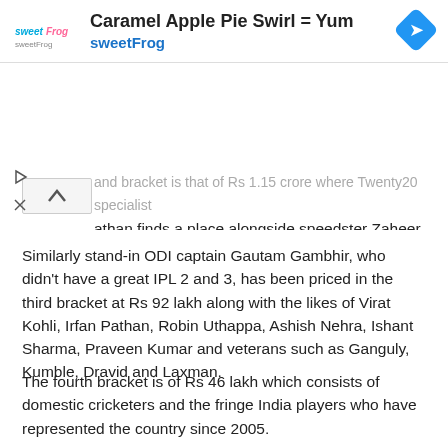[Figure (logo): sweetFrog advertisement banner with logo, text 'Caramel Apple Pie Swirl = Yum', 'sweetFrog', and a blue diamond navigation icon]
...and bracket is that of Rs 1.15 crore where Twenty20 specialist ...athan finds a place alongside speedster Zaheer Khan and the talented Suresh Raina.
Similarly stand-in ODI captain Gautam Gambhir, who didn't have a great IPL 2 and 3, has been priced in the third bracket at Rs 92 lakh along with the likes of Virat Kohli, Irfan Pathan, Robin Uthappa, Ashish Nehra, Ishant Sharma, Praveen Kumar and veterans such as Ganguly, Kumble, Dravid and Laxman.
The fourth bracket is of Rs 46 lakh which consists of domestic cricketers and the fringe India players who have represented the country since 2005.
Bengal players Wriddhiman Saha, Manoj Tiwary, Ashok Dinda along with Saurashtra's Cheteshwar Pujara are some of the players in the fourth bracket.
The fifth and final bracket is of Rs 23 lakh where there are India